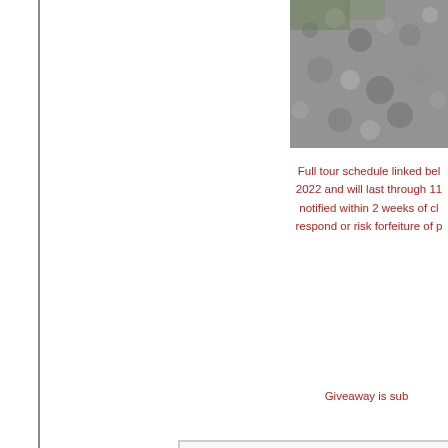[Figure (photo): Partial photo at top right, appears to show gravel/rocks with some green]
Full tour schedule linked bel 2022 and will last through 11 notified within 2 weeks of cl respond or risk forfeiture of p
Giveaway is sub
[Figure (illustration): Two interlocking blue gear icons on a light gray rounded rectangle background]